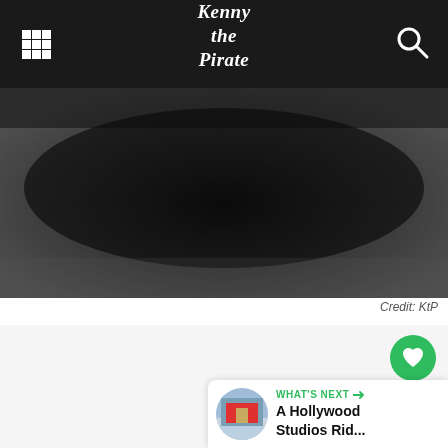Kenny the Pirate
[Figure (photo): Dark textured surface photo, grainy black and grey tones, header image for a website article]
Credit: KtP
[Figure (infographic): Social interaction buttons: heart/like button (green circle), count bubble showing 7, share button (circle with share icon)]
[Figure (infographic): What's Next panel showing a thumbnail of a Hollywood Studios ride and label 'WHAT'S NEXT' with text 'A Hollywood Studios Rid...']